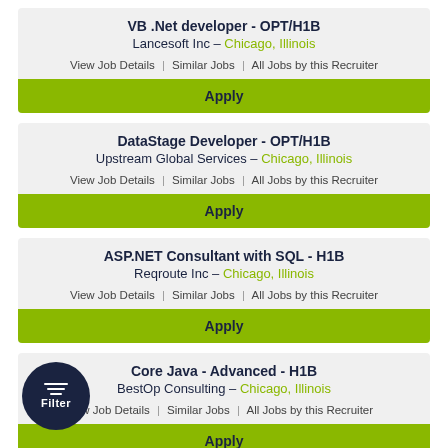VB .Net developer - OPT/H1B
Lancesoft Inc – Chicago, Illinois
View Job Details | Similar Jobs | All Jobs by this Recruiter
Apply
DataStage Developer - OPT/H1B
Upstream Global Services – Chicago, Illinois
View Job Details | Similar Jobs | All Jobs by this Recruiter
Apply
ASP.NET Consultant with SQL - H1B
Reqroute Inc – Chicago, Illinois
View Job Details | Similar Jobs | All Jobs by this Recruiter
Apply
Core Java - Advanced - H1B
BestOp Consulting – Chicago, Illinois
View Job Details | Similar Jobs | All Jobs by this Recruiter
Apply